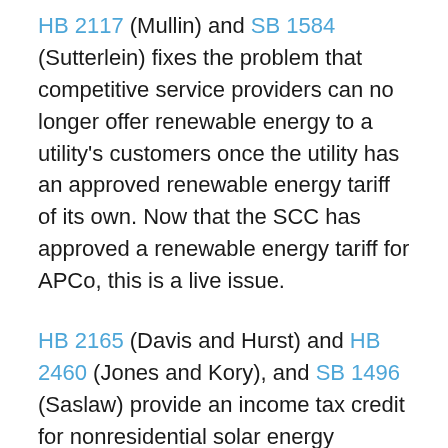HB 2117 (Mullin) and SB 1584 (Sutterlein) fixes the problem that competitive service providers can no longer offer renewable energy to a utility's customers once the utility has an approved renewable energy tariff of its own. Now that the SCC has approved a renewable energy tariff for APCo, this is a live issue.
HB 2165 (Davis and Hurst) and HB 2460 (Jones and Kory), and SB 1496 (Saslaw) provide an income tax credit for nonresidential solar energy equipment installed on landfills, brownfields, in economic opportunity zones, and in certain utility cooperatives. This is a Rubin Group bill.
HB 2192 (Rush) and SB 1331 (Stanley) is a school modernization initiative that includes language encouraging energy efficient building standards and net zero design. It also encourages schools to consider lease